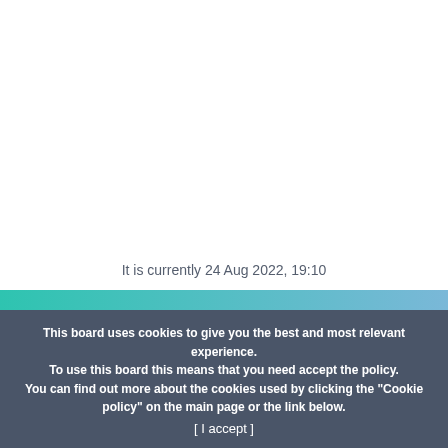It is currently 24 Aug 2022, 19:10
Joomla! Components
Phoca Gallery
Phoca Gallery - image gallery extension
This board uses cookies to give you the best and most relevant experience. To use this board this means that you need accept the policy. You can find out more about the cookies used by clicking the "Cookie policy" on the main page or the link below. [ I accept ]